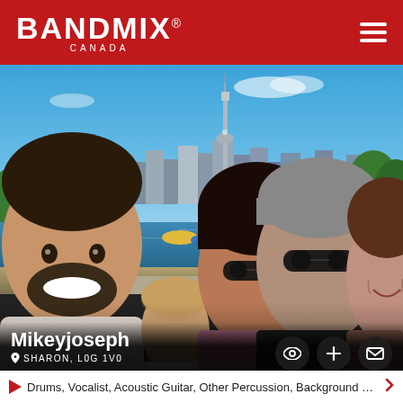BANDMIX® CANADA
[Figure (photo): Group selfie of five people (young man with beard, young girl, young woman with sunglasses, middle-aged man with sunglasses, older woman) outdoors with Toronto skyline and CN Tower visible across water, boats in background, sunny day.]
Mikeyjoseph
SHARON, L0G 1V0
Drums, Vocalist, Acoustic Guitar, Other Percussion, Background Si...